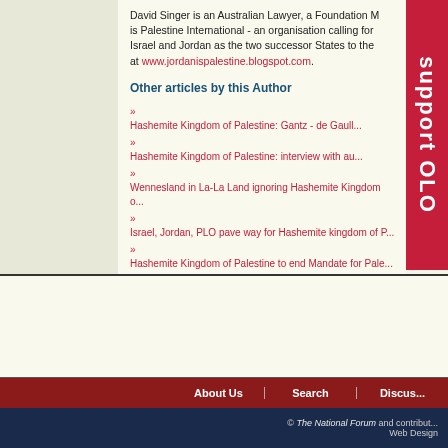David Singer is an Australian Lawyer, a Foundation M... is Palestine International - an organisation calling for... Israel and Jordan as the two successor States to the... at www.jordanispalestine.blogspot.com.
Other articles by this Author
» Hashemite Kingdom of Palestine: Gantz - de Gaull...
» Hashemite Kingdom of Palestine: interview with au...
» Wennesland in La-La Land ignoring Hashemite Kingdom o...
» Israel, Jordan, PLO pave way for Hashemite kingdom of P...
» Hashemite Kingdom of Palestine to end Mandate for Pale...
All articles by David Singer
This work is licensed under a
About Us   Search   Discus...
© The National Forum and contribut... Web Design